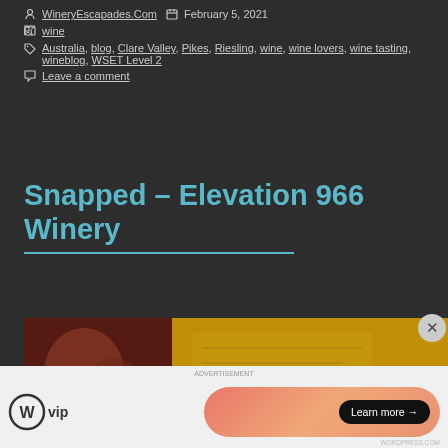WineryEscapades.Com  |  February 5, 2021
wine
Australia, blog, Clare Valley, Pikes, Riesling, wine, wine lovers, wine tasting, wineblog, WSET Level 2
Leave a comment
Snapped – Elevation 966 Winery
[Figure (photo): Two side-by-side photos: left shows a dark reddish indoor scene, right shows a golden/amber colored surface possibly a wine label or barrel]
WordPress VIP — Learn more →